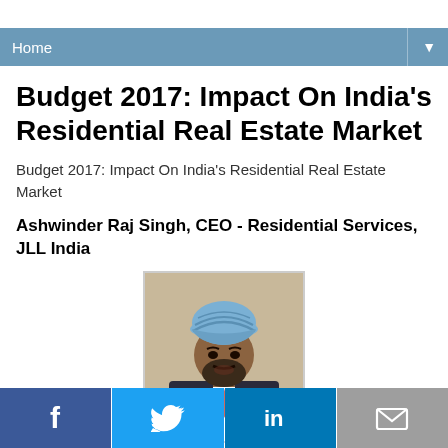Home ▼
Budget 2017: Impact On India's Residential Real Estate Market
Budget 2017: Impact On India's Residential Real Estate Market
Ashwinder Raj Singh, CEO - Residential Services, JLL India
[Figure (photo): Portrait photo of Ashwinder Raj Singh wearing a blue turban and dark suit]
f  Twitter  in  Email (social share buttons)